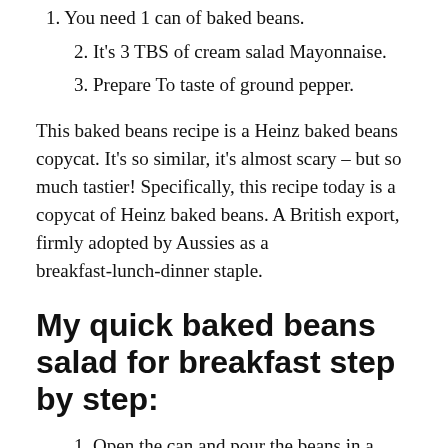1. You need 1 can of baked beans.
2. It's 3 TBS of cream salad Mayonnaise.
3. Prepare To taste of ground pepper.
This baked beans recipe is a Heinz baked beans copycat. It's so similar, it's almost scary – but so much tastier! Specifically, this recipe today is a copycat of Heinz baked beans. A British export, firmly adopted by Aussies as a breakfast-lunch-dinner staple.
My quick baked beans salad for breakfast step by step:
1. Open the can and pour the beans in a bowl then add the cream salad Mayonnaise stir